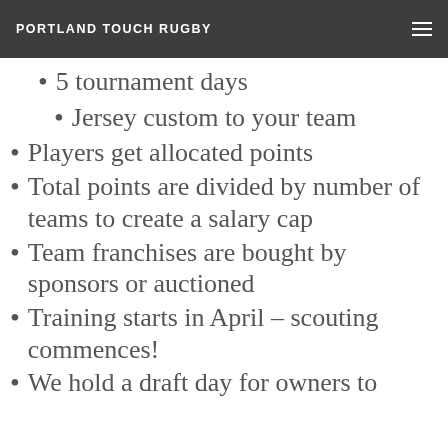PORTLAND TOUCH RUGBY
5 tournament days
Jersey custom to your team
Players get allocated points
Total points are divided by number of teams to create a salary cap
Team franchises are bought by sponsors or auctioned
Training starts in April – scouting commences!
We hold a draft day for owners to